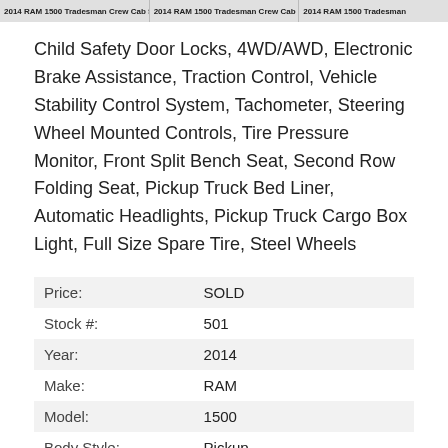2014 RAM 1500 Tradesman Crew Cab SWB $67,835 6040 | 2014 RAM 1500 Tradesman Crew Cab SWB $67,835 6040 | 2014 RAM 1500 Tradesman
Child Safety Door Locks, 4WD/AWD, Electronic Brake Assistance, Traction Control, Vehicle Stability Control System, Tachometer, Steering Wheel Mounted Controls, Tire Pressure Monitor, Front Split Bench Seat, Second Row Folding Seat, Pickup Truck Bed Liner, Automatic Headlights, Pickup Truck Cargo Box Light, Full Size Spare Tire, Steel Wheels
| Price: | SOLD |
| Stock #: | 501 |
| Year: | 2014 |
| Make: | RAM |
| Model: | 1500 |
| Body Style: | Pickup |
| Trim: | Tradesman Crew Cab SWB |
| Mileage: | 184,230 |
| Ext Color: | Silver |
| Int Color: | Gray |